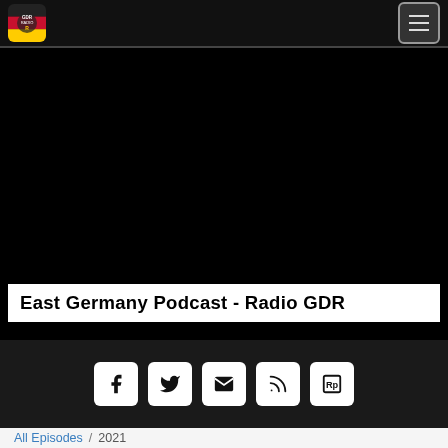[Figure (screenshot): Website header/navbar with GDR Radio logo on left and hamburger menu button on right, black background]
[Figure (screenshot): Hero image area with black background and white title bar showing 'East Germany Podcast - Radio GDR']
East Germany Podcast - Radio GDR
[Figure (screenshot): Social sharing bar with dark background containing five icon buttons: Facebook (f), Twitter (bird), Email (envelope), RSS (feed), and podcast platform icon]
All Episodes / 2021